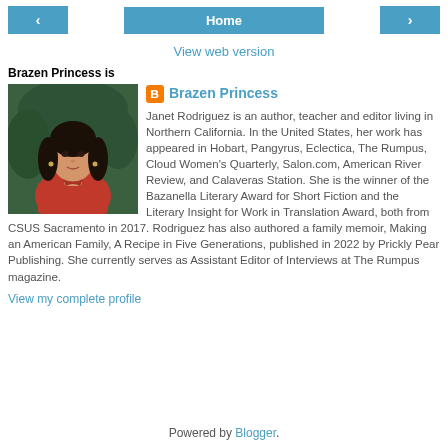< Home >
View web version
Brazen Princess is
[Figure (photo): Profile photo of Janet Rodriguez, a woman with dark hair wearing a red top]
Brazen Princess

Janet Rodriguez is an author, teacher and editor living in Northern California. In the United States, her work has appeared in Hobart, Pangyrus, Eclectica, The Rumpus, Cloud Women's Quarterly, Salon.com, American River Review, and Calaveras Station. She is the winner of the Bazanella Literary Award for Short Fiction and the Literary Insight for Work in Translation Award, both from CSUS Sacramento in 2017. Rodriguez has also authored a family memoir, Making an American Family, A Recipe in Five Generations, published in 2022 by Prickly Pear Publishing. She currently serves as Assistant Editor of Interviews at The Rumpus magazine.
View my complete profile
Powered by Blogger.